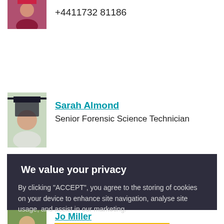+4411732 81186
[Figure (photo): Partial profile photo of a person at the top left]
[Figure (photo): Profile photo of Sarah Almond wearing a graduation cap]
Sarah Almond
Senior Forensic Science Technician
We value your privacy
By clicking “ACCEPT”, you agree to the storing of cookies on your device to enhance site navigation, analyse site usage, and assist in our marketing.
ACCEPT
VIEW COOKIE SETTINGS
[Figure (photo): Partial profile photo of Jo Miller at bottom]
Jo Miller